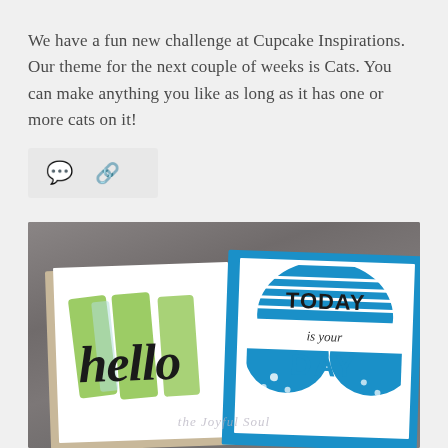We have a fun new challenge at Cupcake Inspirations. Our theme for the next couple of weeks is Cats. You can make anything you like as long as it has one or more cats on it!
[Figure (other): Icon bar with speech bubble and link icons on light grey background]
[Figure (photo): Photo of two handmade greeting cards on a grey wood surface. Left card shows 'hello' in black calligraphy over green brushstrokes on white, backed by a kraft envelope. Right card has blue border and shows 'TODAY is your DAY' text with blue striped semicircle designs. Watermark reads 'the Joyful Soul'.]